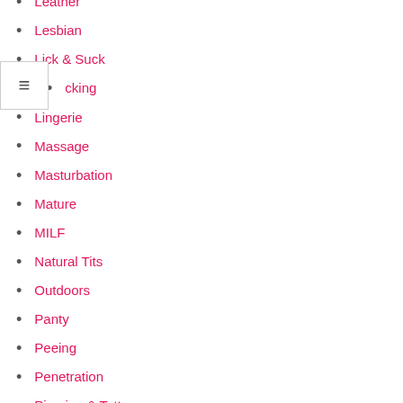Leather
Lesbian
Lick & Suck
Licking
Lingerie
Massage
Masturbation
Mature
MILF
Natural Tits
Outdoors
Panty
Peeing
Penetration
Piercing & Tatto
Pissing
Porn stars
Pornstar
POV